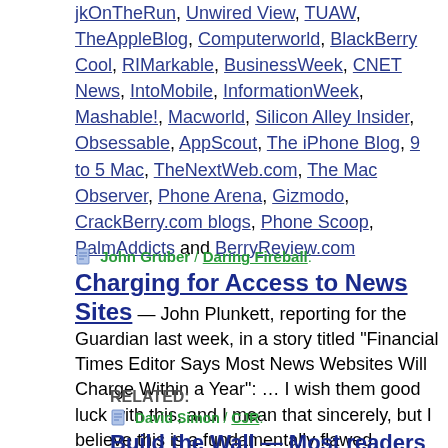jkOnTheRun, Unwired View, TUAW, TheAppleBlog, Computerworld, BlackBerry Cool, RIMarkable, BusinessWeek, CNET News, IntoMobile, InformationWeek, Mashable!, Macworld, Silicon Alley Insider, Obsessable, AppScout, The iPhone Blog, 9 to 5 Mac, TheNextWeb.com, The Mac Observer, Phone Arena, Gizmodo, CrackBerry.com blogs, Phone Scoop, PalmAddicts and BerryReview.com
John Gruber / Daring Fireball:
Charging for Access to News Sites
— John Plunkett, reporting for the Guardian last week, in a story titled “Financial Times Editor Says Most News Websites Will Charge Within a Year”: … I wish them good luck with this, and I mean that sincerely, but I believe this is a fundamentally flawed strategy.
Discussion: Technovia
RELATED:
David Simon / CJR:
Build the Wall — Most readers won't pay for...